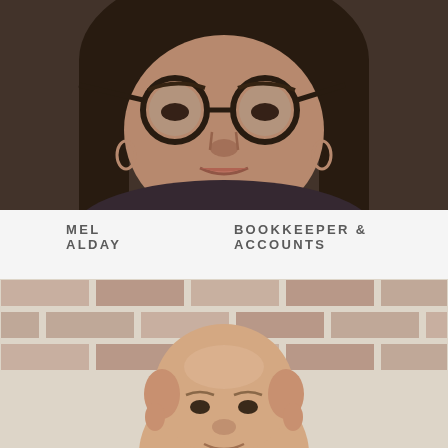[Figure (photo): Close-up portrait photo of Mel Alday, a woman with dark hair, large round glasses, and hoop earrings, photographed against a dark/warm background.]
MEL ALDAY    BOOKKEEPER & ACCOUNTS
[Figure (photo): Portrait photo of a bald or closely-cropped man smiling slightly, photographed in front of a white-painted brick wall.]